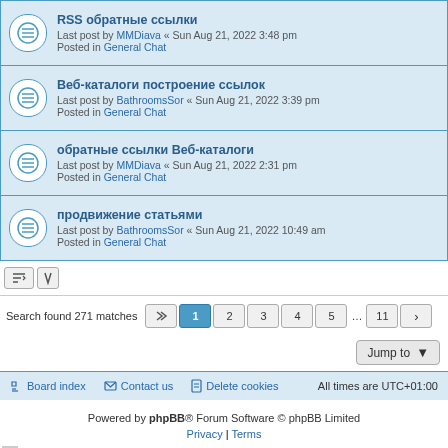RSS обратные ссылки — Last post by MMDiava « Sun Aug 21, 2022 3:48 pm — Posted in General Chat
Веб-каталоги построение ссылок — Last post by BathroomsSor « Sun Aug 21, 2022 3:39 pm — Posted in General Chat
обратные ссылки Веб-каталоги — Last post by MMDiava « Sun Aug 21, 2022 2:31 pm — Posted in General Chat
продвижение статьями — Last post by BathroomsSor « Sun Aug 21, 2022 10:49 am — Posted in General Chat
Search found 271 matches
Powered by phpBB® Forum Software © phpBB Limited
Privacy | Terms
Board index   Contact us   Delete cookies   All times are UTC+01:00